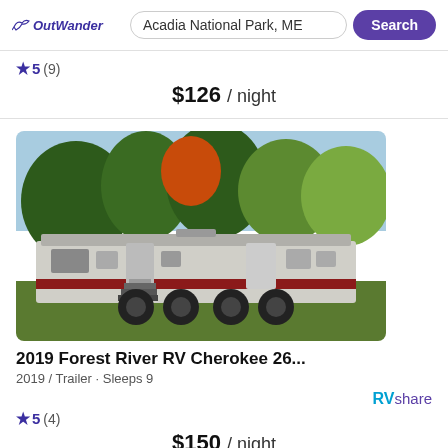OutWander | Acadia National Park, ME | Search
★5 (9)
$126 / night
[Figure (photo): Photo of a 2019 Forest River RV Cherokee travel trailer parked on grass with trees in background]
2019 Forest River RV Cherokee 26...
2019 / Trailer · Sleeps 9
RVshare
★5 (4)
$150 / night